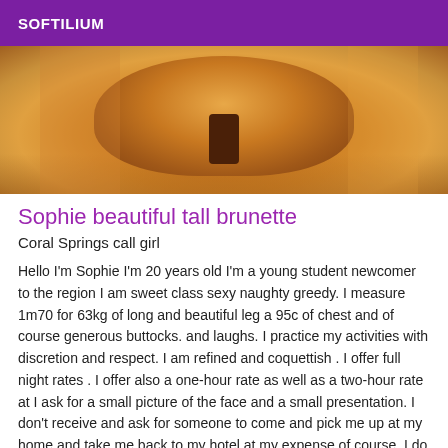SOFTILIUM
[Figure (photo): Close-up photo of a person's body, cropped]
Sophie beautiful tall brunette
Coral Springs call girl
Hello I'm Sophie I'm 20 years old I'm a young student newcomer to the region I am sweet class sexy naughty greedy. I measure 1m70 for 63kg of long and beautiful leg a 95c of chest and of course generous buttocks. and laughs. I practice my activities with discretion and respect. I am refined and coquettish . I offer full night rates . I offer also a one-hour rate as well as a two-hour rate at I ask for a small picture of the face and a small presentation. I don't receive and ask for someone to come and pick me up at my home and take me back to my hotel at my expense of course. I do not accept hidden calls. And prefer to communicate by SMS at first